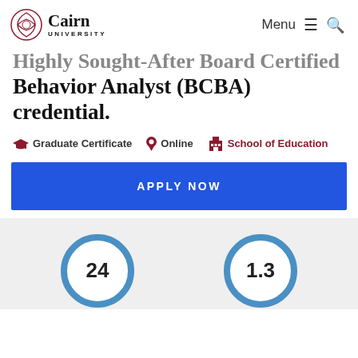Cairn University — Menu
Highly Sought-After Board Certified Behavior Analyst (BCBA) credential.
Graduate Certificate | Online | School of Education
APPLY NOW
[Figure (infographic): Two circular ring stat graphics showing '24' and '1.3' on a light gray background section]